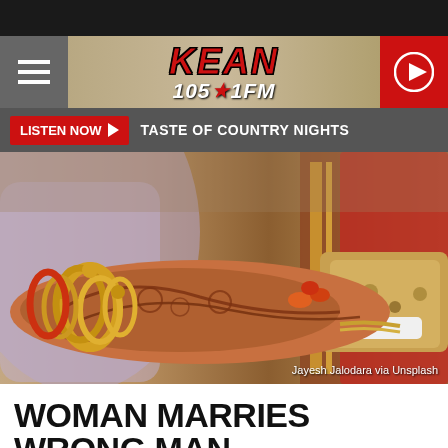[Figure (logo): KEAN 105.1 FM radio station logo with hamburger menu and play button]
LISTEN NOW   TASTE OF COUNTRY NIGHTS
[Figure (photo): Wedding photo showing a bride's hand with henna (mehndi) and gold bangles/jewelry resting on a groom's hand. Colorful traditional Indian wedding attire visible in background. Credit: Jayesh Jalodara via Unsplash]
Jayesh Jalodara via Unsplash
WOMAN MARRIES WRONG MAN